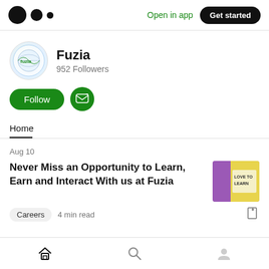Open in app | Get started
[Figure (logo): Fuzia profile avatar — circle with colorful fuzia logo/earth graphic]
Fuzia
952 Followers
Follow  [subscribe button]
Home
Aug 10
Never Miss an Opportunity to Learn, Earn and Interact With us at Fuzia
[Figure (photo): Yellow and purple wall with text LOVE TO LEARN]
Careers  4 min read
Home  Search  Profile